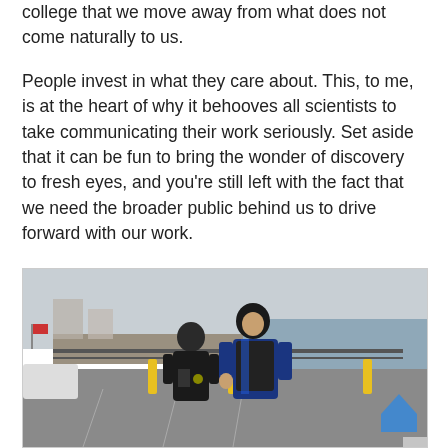college that we move away from what does not come naturally to us.
People invest in what they care about. This, to me, is at the heart of why it behooves all scientists to take communicating their work seriously. Set aside that it can be fun to bring the wonder of discovery to fresh eyes, and you're still left with the fact that we need the broader public behind us to drive forward with our work.
[Figure (photo): Two people in scuba diving gear standing in a parking lot near the ocean. One person is shorter and wearing black gear, the other is taller in a blue wetsuit with black equipment. Yellow bollards and a metal fence visible in the background, with the sea and cloudy sky beyond. A blue upward-pointing chevron arrow appears in the bottom-right corner of the image.]